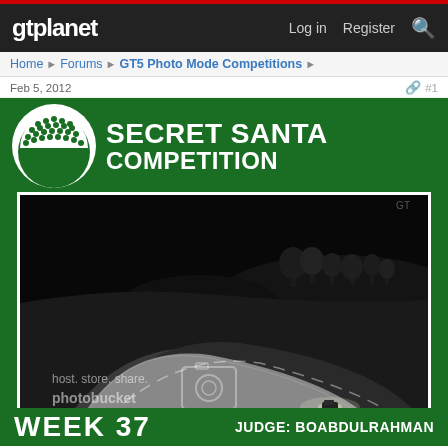gtplanet | Log in  Register
Home > Forums > GT5 Photo Mode Competitions >
Feb 5, 2012   #1
[Figure (photo): Secret Santa Competition banner with a night-time racing track photo. Bottom text: WEEK 35 WINNER Boabdulrahman. Green banner with circular GT logo and 'SECRET SANTA COMPETITION' text in white.]
WEEK 37   JUDGE: BOABDULRAHMAN